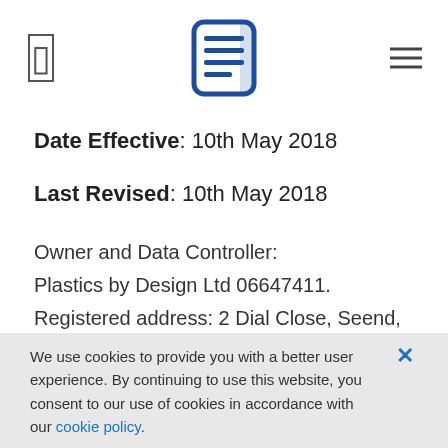[Logo: Plastics by Design icon] [hamburger menu]
Date Effective: 10th May 2018
Last Revised: 10th May 2018
Owner and Data Controller:
Plastics by Design Ltd 06647411.
Registered address: 2 Dial Close, Seend, Melksham, Wiltshire, SN12 6NP.
We use cookies to provide you with a better user experience. By continuing to use this website, you consent to our use of cookies in accordance with our cookie policy.